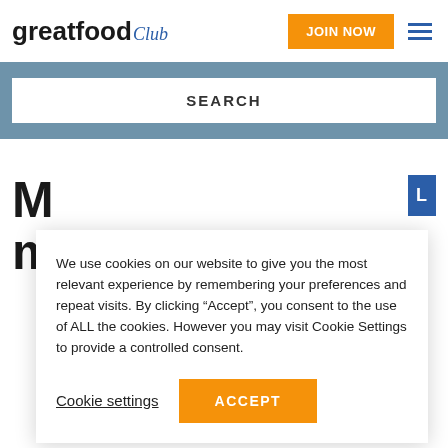greatfood club
SEARCH
M...
A s...
We use cookies on our website to give you the most relevant experience by remembering your preferences and repeat visits. By clicking “Accept”, you consent to the use of ALL the cookies. However you may visit Cookie Settings to provide a controlled consent.
Cookie settings
ACCEPT